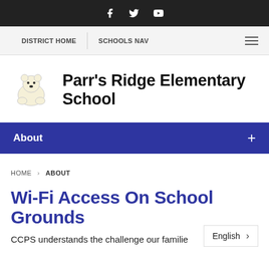Social media icons: Facebook, Twitter, YouTube
DISTRICT HOME | SCHOOLS NAV
[Figure (logo): Parr's Ridge Elementary School polar bear mascot logo]
Parr's Ridge Elementary School
About
HOME › ABOUT
Wi-Fi Access On School Grounds
CCPS understands the challenge our familie